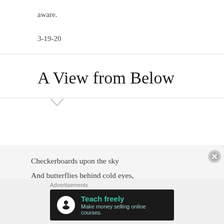aware.
3-19-20
A View from Below
Checkerboards upon the sky
And butterflies behind cold eyes,
A million shards, the shattered souls,
Through mist gaze up from secret holes.
Advertisements
[Figure (other): Advertisement banner: dark background with tree/person icon, teal text 'Teach freely', subtitle 'Make money selling online courses.']